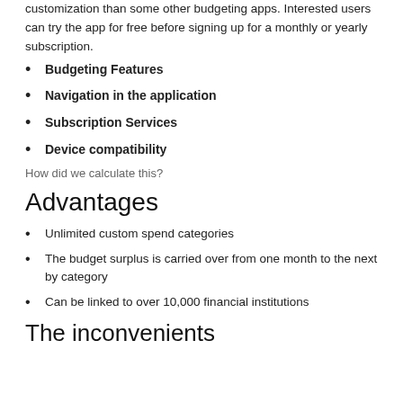customization than some other budgeting apps. Interested users can try the app for free before signing up for a monthly or yearly subscription.
Budgeting Features
Navigation in the application
Subscription Services
Device compatibility
How did we calculate this?
Advantages
Unlimited custom spend categories
The budget surplus is carried over from one month to the next by category
Can be linked to over 10,000 financial institutions
The inconvenients